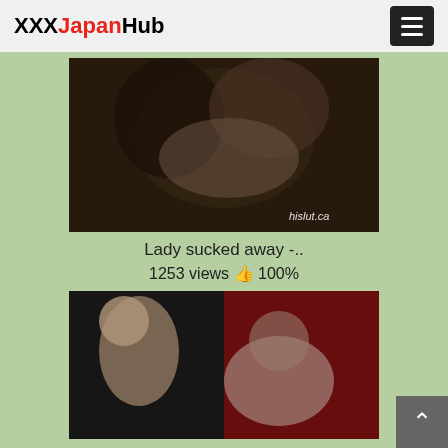XXXJapanHub
[Figure (photo): Video thumbnail showing adult content with watermark hislut.ca]
Lady sucked away -..
1253 views 👍 100%
[Figure (photo): Second video thumbnail showing adult content]